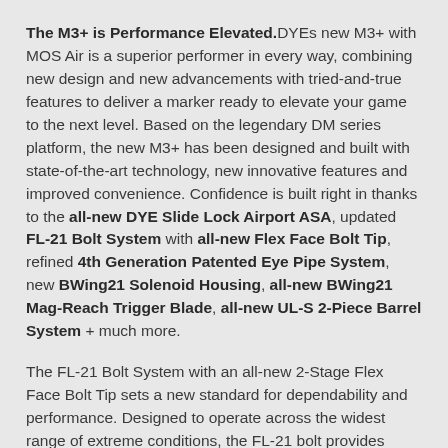The M3+ is Performance Elevated. DYEs new M3+ with MOS Air is a superior performer in every way, combining new design and new advancements with tried-and-true features to deliver a marker ready to elevate your game to the next level. Based on the legendary DM series platform, the new M3+ has been designed and built with state-of-the-art technology, new innovative features and improved convenience. Confidence is built right in thanks to the all-new DYE Slide Lock Airport ASA, updated FL-21 Bolt System with all-new Flex Face Bolt Tip, refined 4th Generation Patented Eye Pipe System, new BWing21 Solenoid Housing, all-new BWing21 Mag-Reach Trigger Blade, all-new UL-S 2-Piece Barrel System + much more.
The FL-21 Bolt System with an all-new 2-Stage Flex Face Bolt Tip sets a new standard for dependability and performance. Designed to operate across the widest range of extreme conditions, the FL-21 bolt provides unmatched performance without sacrificing reliability. The...